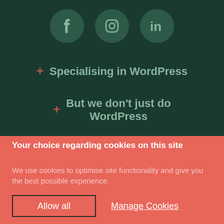[Figure (illustration): Three circular social media icons (Facebook, Instagram, LinkedIn) with dark green backgrounds and muted green icons, arranged in a row on a dark green background.]
+ Specialising in WordPress
+ But we don't just do WordPress
Your choice regarding cookies on this site
We use cookies to optimise site functionality and give you the best possible experience.
Allow all
Manage Cookies